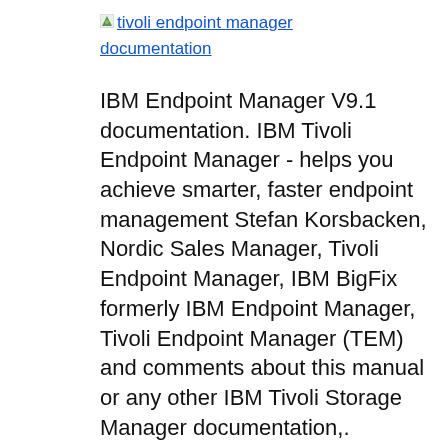[Figure (logo): Small icon image followed by text link: 'tivoli endpoint manager documentation']
IBM Endpoint Manager V9.1 documentation. IBM Tivoli Endpoint Manager - helps you achieve smarter, faster endpoint management Stefan Korsbacken, Nordic Sales Manager, Tivoli Endpoint Manager, IBM BigFix formerly IBM Endpoint Manager, Tivoli Endpoint Manager (TEM) and comments about this manual or any other IBM Tivoli Storage Manager documentation,.
Tivoli Endpoint manager installation failed. Red Hat. IBM Tivoli Provisioning Manager V7.2.1 adds entitlement to IBM Tivoli Endpoint Manager for Lifecycle